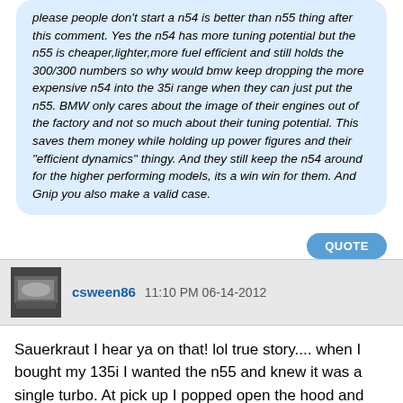please people don't start a n54 is better than n55 thing after this comment. Yes the n54 has more tuning potential but the n55 is cheaper,lighter,more fuel efficient and still holds the 300/300 numbers so why would bmw keep dropping the more expensive n54 into the 35i range when they can just put the n55. BMW only cares about the image of their engines out of the factory and not so much about their tuning potential. This saves them money while holding up power figures and their "efficient dynamics" thingy. And they still keep the n54 around for the higher performing models, its a win win for them. And Gnip you also make a valid case.
QUOTE
csween86 11:10 PM 06-14-2012
Sauerkraut I hear ya on that! lol true story.... when I bought my 135i I wanted the n55 and knew it was a single turbo. At pick up I popped open the hood and saw